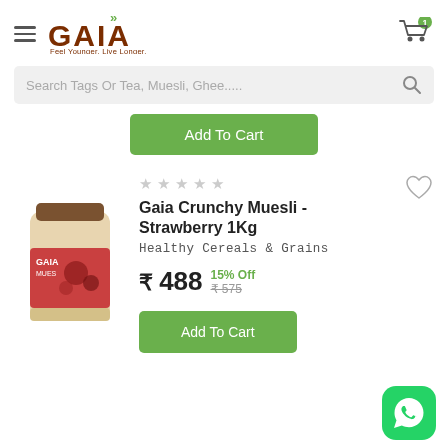[Figure (logo): GAIA logo with green arrows and tagline 'Feel Younger. Live Longer.']
[Figure (screenshot): Search bar with placeholder text 'Search Tags Or Tea, Muesli, Ghee.....' and search icon]
[Figure (screenshot): Green 'Add To Cart' button (partially visible, top of page)]
[Figure (photo): Gaia Crunchy Muesli Strawberry 1Kg product jar image]
★★★★★
Gaia Crunchy Muesli - Strawberry 1Kg
Healthy Cereals & Grains
₹ 488  15% Off  ₹575
[Figure (screenshot): Green 'Add To Cart' button for Gaia Crunchy Muesli product]
[Figure (logo): WhatsApp green icon button]